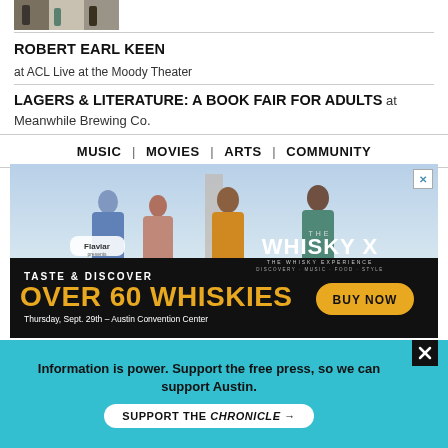[Figure (photo): Partial photo of group of people at top of page]
ROBERT EARL KEEN
at ACL Live at the Moody Theater
LAGERS & LITERATURE: A BOOK FAIR FOR ADULTS  at Meanwhile Brewing Co.
MUSIC  |  MOVIES  |  ARTS  |  COMMUNITY
[Figure (photo): Whisky X advertisement by Flaviar. Five men in colorful suits standing outdoors. Text: TASTE & DISCOVER OVER 60 WHISKIES. BUY NOW. Thursday, Sept. 29th – Austin Convention Center.]
Information is power. Support the free press, so we can support Austin.
SUPPORT THE CHRONICLE →